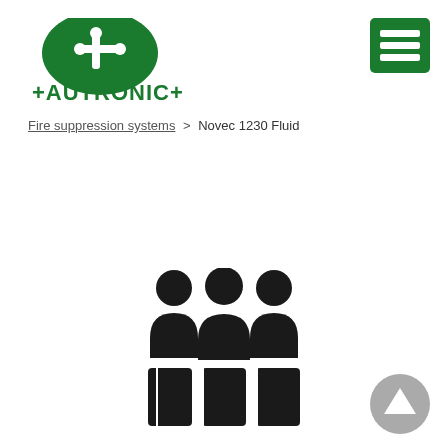[Figure (logo): Autronica logo: green oval with white stylized 'a' symbol, with 'AUTRONICA' text in green below]
[Figure (other): Green square hamburger menu icon with three white horizontal lines]
Fire suppression systems > Novec 1230 Fluid
[Figure (illustration): Group of three person silhouettes (black) above three black rectangles arranged in a 3-column grid, representing a seating or personnel arrangement icon]